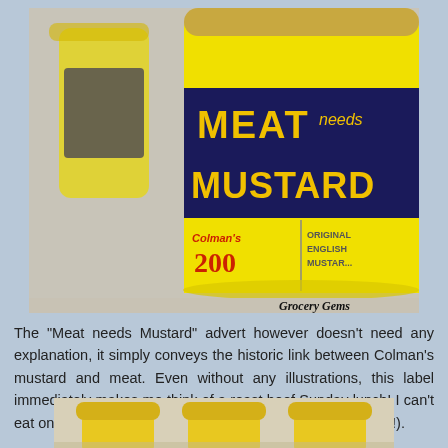[Figure (photo): Close-up photo of Colman's Mustard jar with 'MEAT needs MUSTARD' label in yellow and dark navy, showing 'Colman's 200' anniversary edition and 'Original English Mustard' text. Two more jars visible in background. Watermark 'Grocery Gems' at bottom right.]
The "Meat needs Mustard" advert however doesn't need any explanation, it simply conveys the historic link between Colman's mustard and meat. Even without any illustrations, this label immediately makes me think of a roast beef Sunday lunch! I can't eat one without a bit of mustard on the side (or in the gravy!).
[Figure (photo): Partial photo showing tops of three Colman's mustard jars with yellow lids, at the bottom of the page, cropped.]